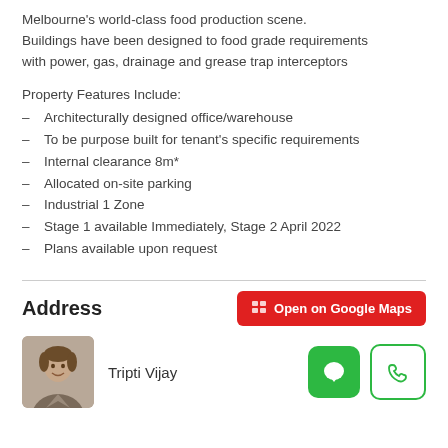Melbourne's world-class food production scene. Buildings have been designed to food grade requirements with power, gas, drainage and grease trap interceptors
Property Features Include:
Architecturally designed office/warehouse
To be purpose built for tenant's specific requirements
Internal clearance 8m*
Allocated on-site parking
Industrial 1 Zone
Stage 1 available Immediately, Stage 2 April 2022
Plans available upon request
Address
Open on Google Maps
Tripti Vijay